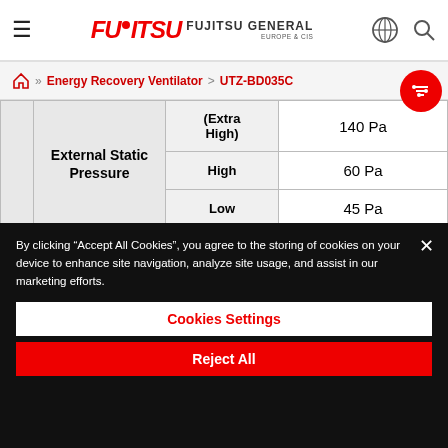FUJITSU GENERAL EUROPE & CIS
Energy Recovery Ventilator > UTZ-BD035C
|  | External Static Pressure |  |  |
| --- | --- | --- | --- |
|  | External Static Pressure | (Extra High) | 140 Pa |
|  | External Static Pressure | High | 60 Pa |
|  | External Static Pressure | Low | 45 Pa |
|  |  | (Extra |  |
By clicking “Accept All Cookies”, you agree to the storing of cookies on your device to enhance site navigation, analyze site usage, and assist in our marketing efforts.
Cookies Settings
Reject All